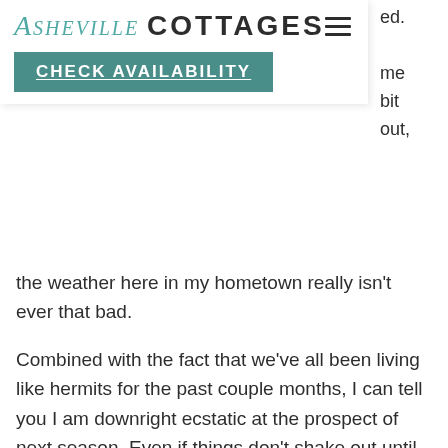ASHEVILLE COTTAGES | CHECK AVAILABILITY
ed.

me
bit
out, the weather here in my hometown really isn’t ever that bad.
Combined with the fact that we’ve all been living like hermits for the past couple months, I can tell you I am downright ecstatic at the prospect of next season. Even if things don’t shake out until the fall or later, well, summer comes around every year or so. Whenever the time’s right for you to enjoy summer in Asheville, allow me to provide some suggestions to make the most of your visit.